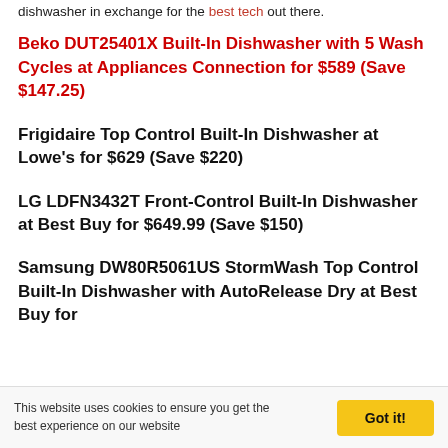dishwasher in exchange for the best tech out there.
Beko DUT25401X Built-In Dishwasher with 5 Wash Cycles at Appliances Connection for $589 (Save $147.25)
Frigidaire Top Control Built-In Dishwasher at Lowe's for $629 (Save $220)
LG LDFN3432T Front-Control Built-In Dishwasher at Best Buy for $649.99 (Save $150)
Samsung DW80R5061US StormWash Top Control Built-In Dishwasher with AutoRelease Dry at Best Buy for
This website uses cookies to ensure you get the best experience on our website
Got it!